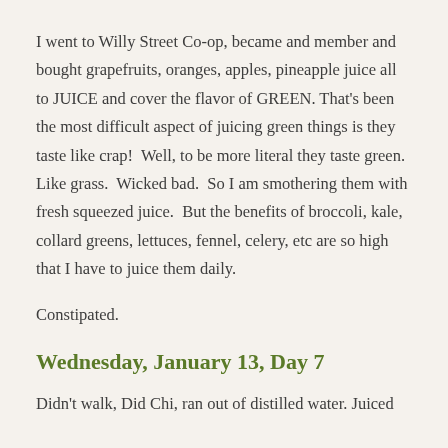I went to Willy Street Co-op, became and member and bought grapefruits, oranges, apples, pineapple juice all to JUICE and cover the flavor of GREEN. That's been the most difficult aspect of juicing green things is they taste like crap!  Well, to be more literal they taste green.  Like grass.  Wicked bad.  So I am smothering them with fresh squeezed juice.  But the benefits of broccoli, kale, collard greens, lettuces, fennel, celery, etc are so high that I have to juice them daily.
Constipated.
Wednesday, January 13, Day 7
Didn't walk, Did Chi, ran out of distilled water. Juiced